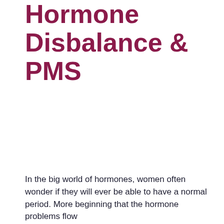Hormone Disbalance & PMS
In the big world of hormones, women often wonder if they will ever be able to have a normal period. More beginning that the hormone problems flow